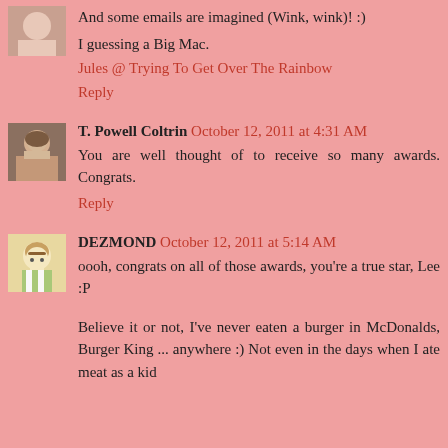And some emails are imagined (Wink, wink)! :)
I guessing a Big Mac.
Jules @ Trying To Get Over The Rainbow
Reply
T. Powell Coltrin  October 12, 2011 at 4:31 AM
You are well thought of to receive so many awards. Congrats.
Reply
DEZMOND  October 12, 2011 at 5:14 AM
oooh, congrats on all of those awards, you're a true star, Lee :P
Believe it or not, I've never eaten a burger in McDonalds, Burger King ... anywhere :) Not even in the days when I ate meat as a kid